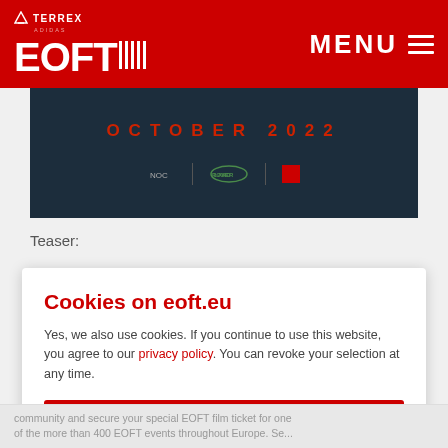TERREX EOFT | MENU
[Figure (screenshot): Dark blue banner with OCTOBER 2022 text in red and sponsor logos (Land Rover and others)]
Teaser:
Cookies on eoft.eu
Yes, we also use cookies. If you continue to use this website, you agree to our privacy policy. You can revoke your selection at any time.
ACCEPT ✓
COOKIE SETTINGS
community and secure your special EOFT film ticket for one of the more than 400 EOFT events throughout Europe. Se...